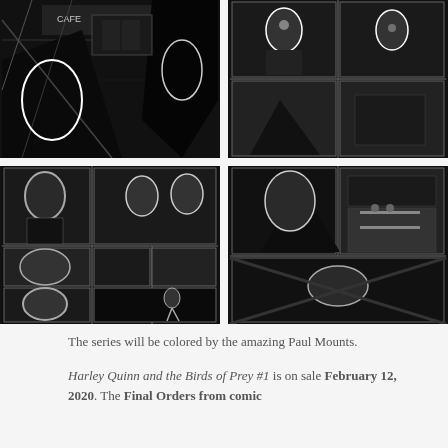[Figure (illustration): Black and white comic book page art showing a cafe scene with dramatic ink work]
[Figure (illustration): Black and white comic book page art showing multiple characters in action panels]
[Figure (illustration): Black and white comic book page art showing multiple panel layout with characters including Harley Quinn and Birds of Prey]
[Figure (illustration): Black and white comic book page art showing interior scene and action sequences]
The series will be colored by the amazing Paul Mounts.
Harley Quinn and the Birds of Prey #1 is on sale February 12, 2020. The Final Orders from comic